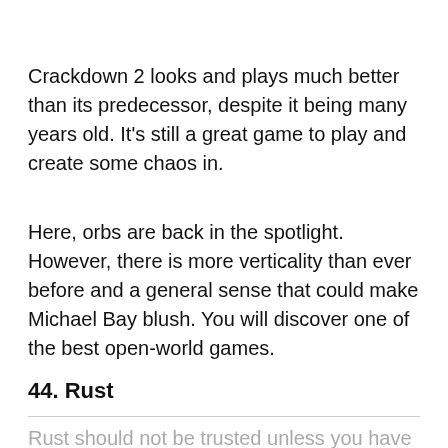Crackdown 2 looks and plays much better than its predecessor, despite it being many years old. It's still a great game to play and create some chaos in.
Here, orbs are back in the spotlight. However, there is more verticality than ever before and a general sense that could make Michael Bay blush. You will discover one of the best open-world games.
44. Rust
Rust should not be trusted unless you have thick skin